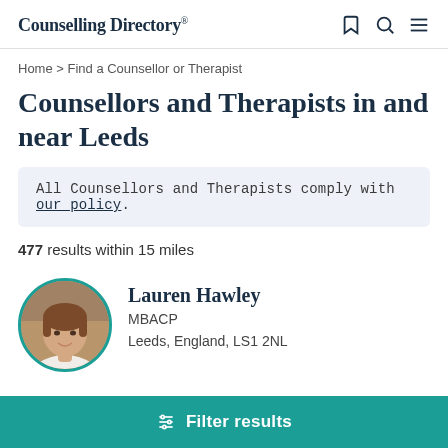Counselling Directory
Home > Find a Counsellor or Therapist
Counsellors and Therapists in and near Leeds
All Counsellors and Therapists comply with our policy.
477 results within 15 miles
Lauren Hawley
MBACP
Leeds, England, LS1 2NL
Filter results